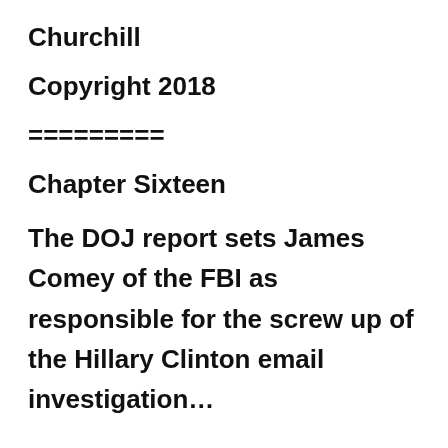Churchill
Copyright 2018
=========
Chapter Sixteen
The DOJ report sets James Comey of the FBI as responsible for the screw up of the Hillary Clinton email investigation…